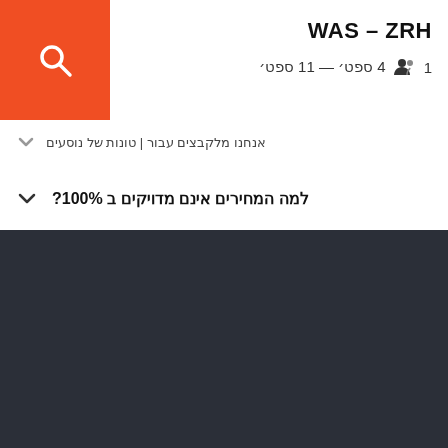[Figure (logo): Orange search icon button]
WAS – ZRH
4 ספט׳ — 11 ספט׳  1 👤
אנחנו מלקבצים עבור | טונות של נוסעים
למה המחירים אינם מדויקים ב 100%?
טיסות
טיסות לניו יורק
טיסות לפראג
טיסות לתל אביב
טיסות לבוקרשט
טיסות ללונדון
טיסות לוינה
טיסות לפריז
טיסות לברצלונה
טיסות לאמסטרדם
טיסות לארצות הברית
טיסות לברלין
טיסות לבריטניה